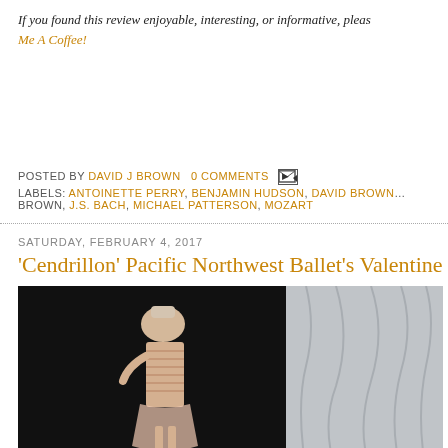If you found this review enjoyable, interesting, or informative, please... Me A Coffee!
POSTED BY DAVID J BROWN   0 COMMENTS
LABELS: ANTOINETTE PERRY, BENJAMIN HUDSON, DAVID BROWN, J.S. BACH, MICHAEL PATTERSON, MOZART
SATURDAY, FEBRUARY 4, 2017
'Cendrillon' Pacific Northwest Ballet's Valentine
[Figure (photo): Ballet dancer in costume on dark stage, with grey curtain on right side]